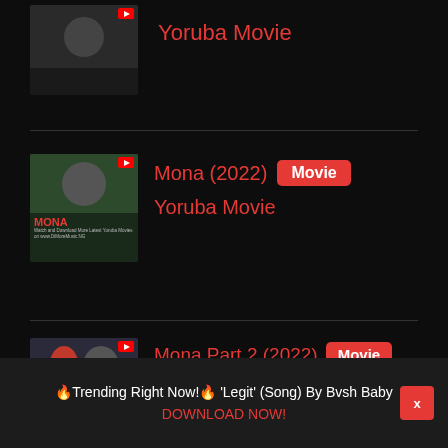[Figure (screenshot): Thumbnail image of a Yoruba movie with a man]
Yoruba Movie
[Figure (screenshot): Thumbnail for Mona (2022) Yoruba Movie showing a woman smiling, with MONA text and DiMoreMusic.NG watermark]
Mona (2022) Movie
Yoruba Movie
[Figure (screenshot): Thumbnail for Mona Part 2 (2022) Yoruba Movie showing two people with MONA 2 text and DiMoreMusic.NG watermark]
Mona Part 2 (2022) Movie
Yoruba Movie
🔥Trending Right Now!🔥 'Legit' (Song) By Bvsh Baby DOWNLOAD NOW!